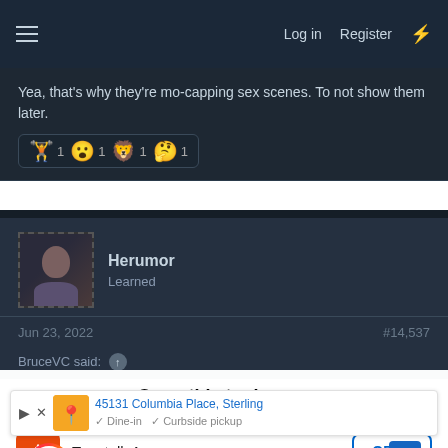Log in  Register
Yea, that's why they're mo-capping sex scenes. To not show them later.
1  1  1  1 (reactions)
Herumor
Learned
Jun 23, 2022   #14,537
BruceVC said: ↑
Open this topic on...
Tapatalk App
OPEN
45131 Columbia Place, Sterling
✓ Dine-in  ✓ Curbside pickup
TINUE